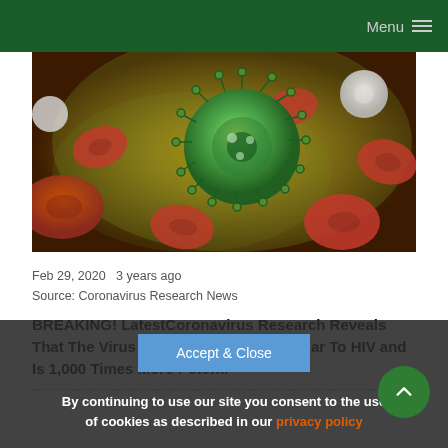Menu
[Figure (photo): Microscopic illustration of coronavirus (green spiky sphere) surrounded by red blood cells and white blood cells on a yellow-green background]
Feb 29, 2020  3 years ago
Source: Coronavirus Research News
BREAKING! LatestCoronavirus Research Reveals That The Virus Has Mutated Gene Similar To HIV and Is 1,000 Times More Potent.
By continuing to use our site you consent to the use of cookies as described in our privacy policy